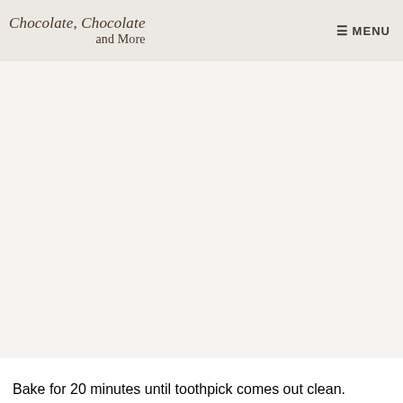Chocolate, Chocolate and More | MENU
[Figure (photo): Large photo area showing a baked food item (mostly white/blank area in screenshot)]
Bake for 20 minutes until toothpick comes out clean.